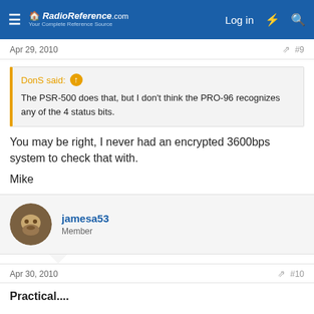RadioReference.com — Log in
Apr 29, 2010  #9
DonS said: ↑
The PSR-500 does that, but I don't think the PRO-96 recognizes any of the 4 status bits.
You may be right, I never had an encrypted 3600bps system to check that with.

Mike
jamesa53
Member
Apr 30, 2010  #10
Practical....